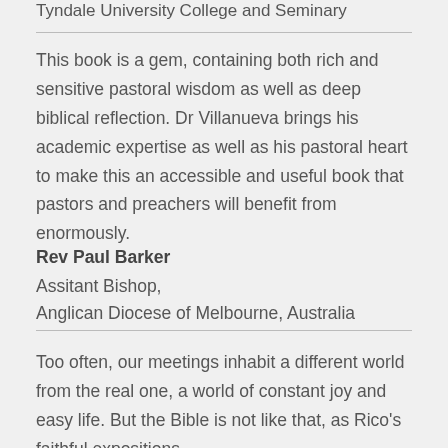Tyndale University College and Seminary
This book is a gem, containing both rich and sensitive pastoral wisdom as well as deep biblical reflection. Dr Villanueva brings his academic expertise as well as his pastoral heart to make this an accessible and useful book that pastors and preachers will benefit from enormously.
Rev Paul Barker
Assitant Bishop,
Anglican Diocese of Melbourne, Australia
Too often, our meetings inhabit a different world from the real one, a world of constant joy and easy life. But the Bible is not like that, as Rico's faithful expositions